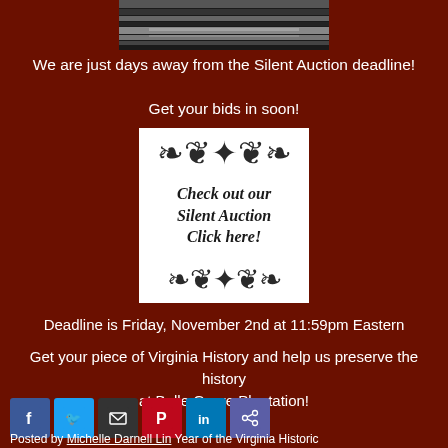[Figure (photo): Black and white photo of stairs or shelving, partially visible at top of page]
We are just days away from the Silent Auction deadline!
Get your bids in soon!
[Figure (illustration): White box with decorative floral/scroll ornaments top and bottom, text reads: Check out our Silent Auction Click here!]
Deadline is Friday, November 2nd at 11:59pm Eastern
Get your piece of Virginia History and help us preserve the history at Belle Grove Plantation!
[Figure (infographic): Social media sharing icons: Facebook, Twitter, Email, Pinterest, LinkedIn, Share]
Posted by Michelle Darnell Lin Year of the Virginia Historic